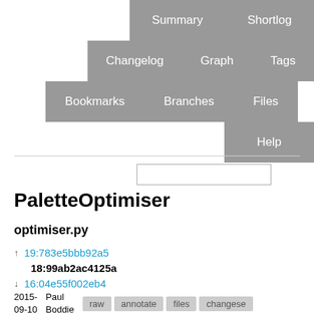[Figure (screenshot): Navigation menu with staggered gray tabs: Summary, Shortlog, Changelog, Graph, Tags, Bookmarks, Branches, Files, Help]
PaletteOptimiser
optimiser.py
↑ 19:783e5bbb92a5
18:99ab2ac4125a
↓ 16:04e55f002eb4
2015-09-10  Paul Boddie  raw  annotate  files  changeset